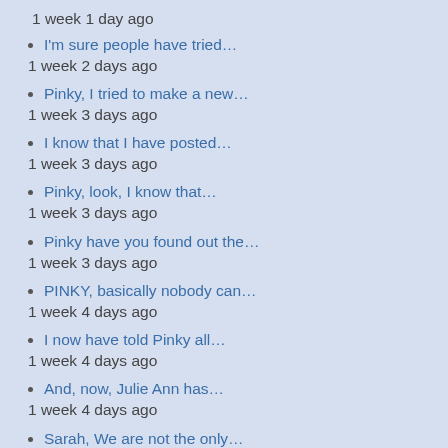1 week 1 day ago
I'm sure people have tried…
1 week 2 days ago
Pinky, I tried to make a new…
1 week 3 days ago
I know that I have posted…
1 week 3 days ago
Pinky, look, I know that…
1 week 3 days ago
Pinky have you found out the…
1 week 3 days ago
PINKY, basically nobody can…
1 week 4 days ago
I now have told Pinky all…
1 week 4 days ago
And, now, Julie Ann has…
1 week 4 days ago
Sarah, We are not the only…
1 week 5 days ago
Mack, I DID. This one, but…
3 weeks 1 day ago